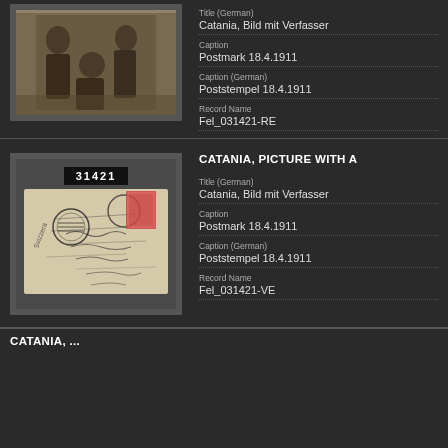[Figure (photo): Sepia photograph showing three men, two standing and one seated, in formal attire, in front of a doorway]
Title (German)
Catania, Bild mit Verfasser
Caption
Postmark 18.4.1911
Caption (German)
Poststempel 18.4.1911
Record Name
Fel_031421-RE
CATANIA, PICTURE WITH A
[Figure (photo): Envelope with handwritten address, postmark stamps, and a red postage stamp. A label reads 31421.]
Title (German)
Catania, Bild mit Verfasser
Caption
Postmark 18.4.1911
Caption (German)
Poststempel 18.4.1911
Record Name
Fel_031421-VE
CATANIA, ...